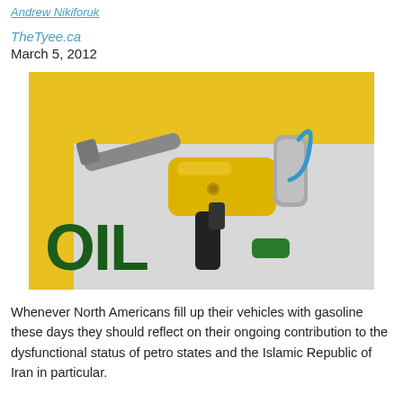By Andrew Nikiforuk
TheTyee.ca
March 5, 2012
[Figure (photo): A yellow gasoline pump nozzle mounted against a yellow and white surface displaying the word 'OIL' in large dark green letters.]
Whenever North Americans fill up their vehicles with gasoline these days they should reflect on their ongoing contribution to the dysfunctional status of petro states and the Islamic Republic of Iran in particular.